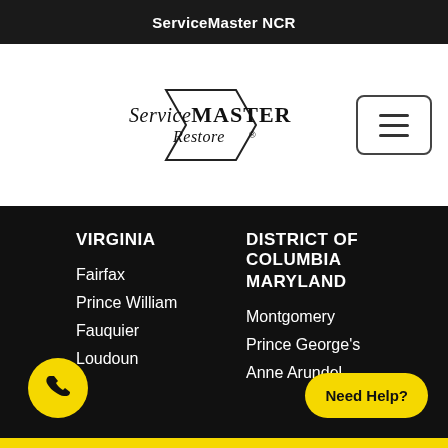ServiceMaster NCR
[Figure (logo): ServiceMaster Restore logo with stylized text and geometric shape]
VIRGINIA
DISTRICT OF COLUMBIA MARYLAND
Fairfax
Montgomery
Prince William
Prince George's
Fauquier
Anne Arundel
Loudoun